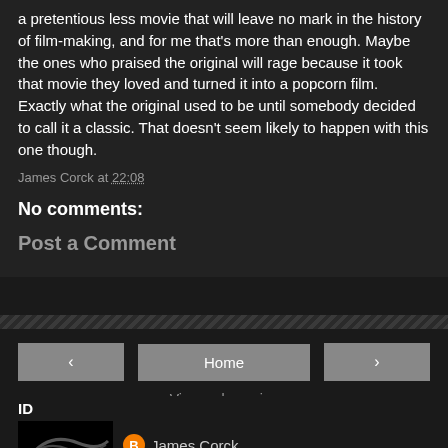a pretentious less movie that will leave no mark in the history of film-making, and for me that's more than enough. Maybe the ones who praised the original will rage because it took that movie they loved and turned it into a popcorn film. Exactly what the original used to be until somebody decided to call it a classic. That doesn't seem likely to happen with this one though.
James Corck at 22:08
No comments:
Post a Comment
Home
View web version
ID
James Corck